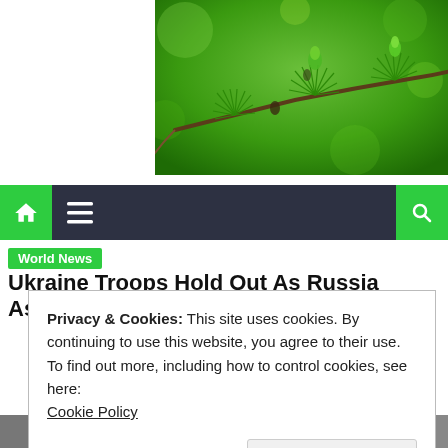[Figure (photo): Close-up photo of a green pine/larch branch with young buds against a blurred green background, positioned in the upper-right portion of the page.]
[Figure (screenshot): Dark navigation bar with a green home icon button on the left, a hamburger menu icon, and a green search/magnifying glass icon on the right.]
World News
Ukraine Troops Hold Out As Russia Assaults
Privacy & Cookies: This site uses cookies. By continuing to use this website, you agree to their use.
To find out more, including how to control cookies, see here:
Cookie Policy
Close and accept
[Figure (photo): Partial black-and-white photograph visible at the very bottom of the page, showing outdoor scene with people or structures.]